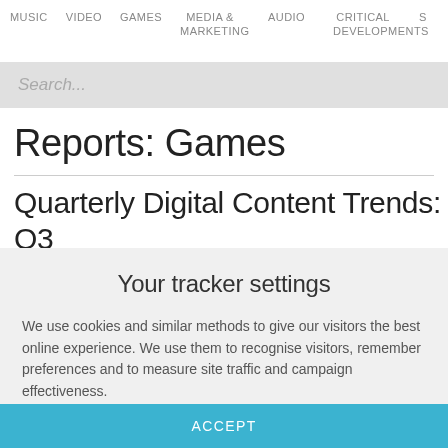MUSIC  VIDEO  GAMES  MEDIA & MARKETING  AUDIO  CRITICAL DEVELOPMENTS  S
Search...
Reports: Games
Quarterly Digital Content Trends: Q3 2017
Your tracker settings
We use cookies and similar methods to give our visitors the best online experience. We use them to recognise visitors, remember preferences and to measure site traffic and campaign effectiveness.
ACCEPT